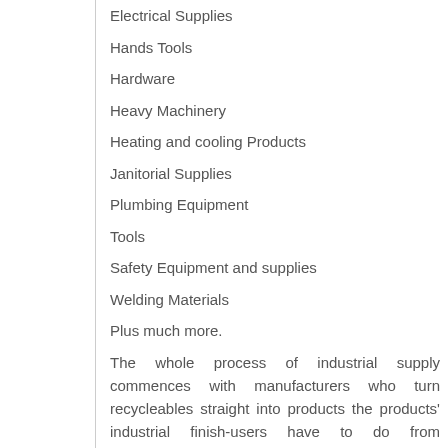Electrical Supplies
Hands Tools
Hardware
Heavy Machinery
Heating and cooling Products
Janitorial Supplies
Plumbing Equipment
Tools
Safety Equipment and supplies
Welding Materials
Plus much more.
The whole process of industrial supply commences with manufacturers who turn recycleables straight into products the products' industrial finish-users have to do from manufacture their own finished goods, to produce such things as utilities, consumer services, and